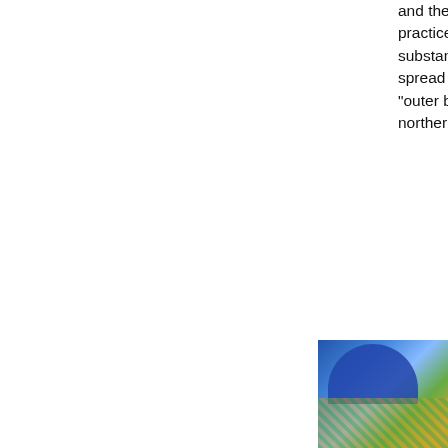and then freehand practiced blower substance into an spread across the "outer barbarians" northern highland
Molding the glass to desired
[Figure (photo): A colorful photo showing a blue domed or arched structure with decorative patterns in green and gold tones, partially cropped at the right edge of the page.]